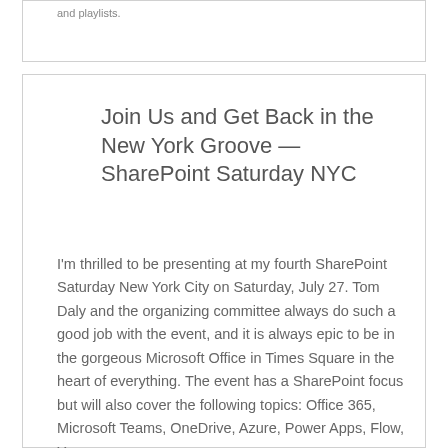and playlists.
Join Us and Get Back in the New York Groove — SharePoint Saturday NYC
I'm thrilled to be presenting at my fourth SharePoint Saturday New York City on Saturday, July 27. Tom Daly and the organizing committee always do such a good job with the event, and it is always epic to be in the gorgeous Microsoft Office in Times Square in the heart of everything. The event has a SharePoint focus but will also cover the following topics: Office 365, Microsoft Teams, OneDrive, Azure, Power Apps, Flow, Yammer